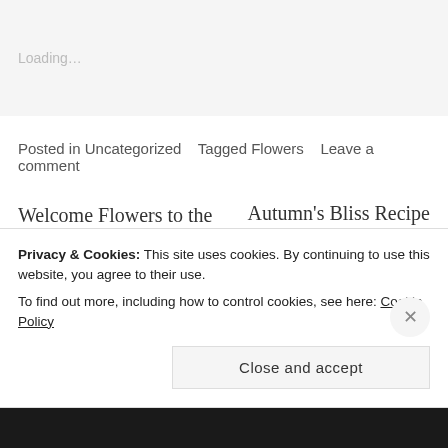Loading…
Posted in Uncategorized   Tagged Flowers   Leave a comment
Welcome Flowers to the Tag Line
Autumn's Bliss Recipe
Leave a Reply
Privacy & Cookies: This site uses cookies. By continuing to use this website, you agree to their use.
To find out more, including how to control cookies, see here: Cookie Policy
Close and accept